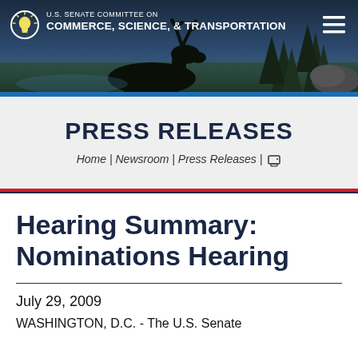[Figure (illustration): U.S. Senate Committee on Commerce, Science, & Transportation website header banner with moose silhouette, trees, and dark blue sky background. Logo with lightbulb icon on left, hamburger menu icon on right.]
U.S. SENATE COMMITTEE ON COMMERCE, SCIENCE, & TRANSPORTATION
PRESS RELEASES
Home | Newsroom | Press Releases | 🖨
Hearing Summary: Nominations Hearing
July 29, 2009
WASHINGTON, D.C. - The U.S. Senate